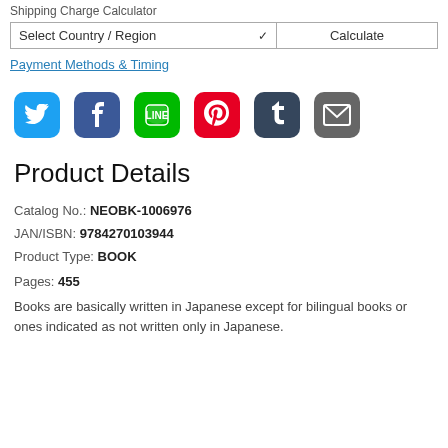Shipping Charge Calculator
Select Country / Region | Calculate
Payment Methods & Timing
[Figure (screenshot): Social media share icons: Twitter, Facebook, LINE, Pinterest, Tumblr, Email]
Product Details
Catalog No.: NEOBK-1006976
JAN/ISBN: 9784270103944
Product Type: BOOK
Pages: 455
Books are basically written in Japanese except for bilingual books or ones indicated as not written only in Japanese.